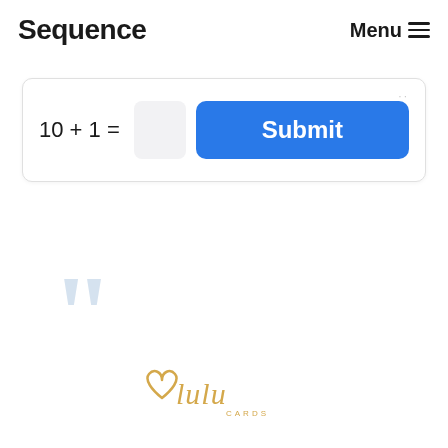Sequence   Menu ≡
[Figure (screenshot): A CAPTCHA form widget showing the math equation '10 + 1 =' with an empty input box and a blue 'Submit' button]
[Figure (illustration): Large decorative light-blue opening double quotation marks]
[Figure (logo): Lulu Cards logo in golden script with a heart symbol]